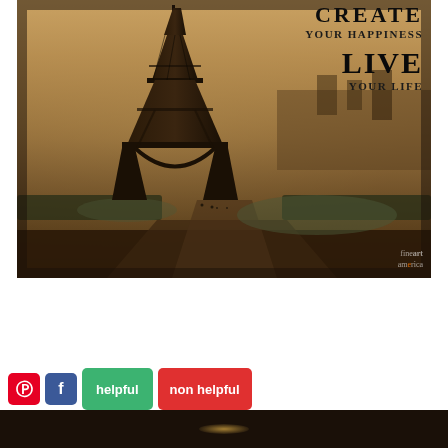[Figure (photo): Vintage sepia-toned photograph of the Eiffel Tower in Paris, France, with text overlay reading 'CREATE YOUR HAPPINESS LIVE YOUR LIFE' and a Fine Art America watermark in the bottom right corner.]
[Figure (screenshot): Bottom section showing social media sharing buttons (Pinterest, Facebook) and feedback buttons (helpful, non helpful) over a dark background image.]